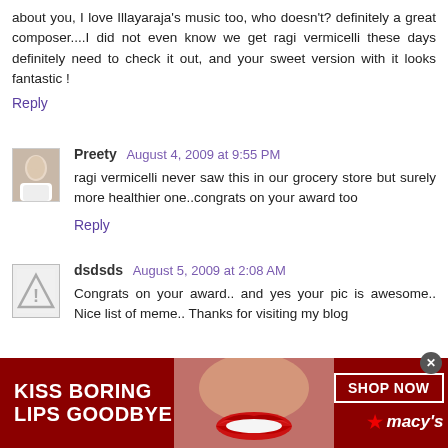about you, I love Illayaraja's music too, who doesn't? definitely a great composer....I did not even know we get ragi vermicelli these days definitely need to check it out, and your sweet version with it looks fantastic !
Reply
Preety  August 4, 2009 at 9:55 PM
ragi vermicelli never saw this in our grocery store but surely more healthier one..congrats on your award too
Reply
dsdsds  August 5, 2009 at 2:08 AM
Congrats on your award.. and yes your pic is awesome.. Nice list of meme.. Thanks for visiting my blog
[Figure (illustration): Macy's advertisement banner: red background with 'KISS BORING LIPS GOODBYE' text, woman's face with red lips, SHOP NOW button and Macy's star logo]